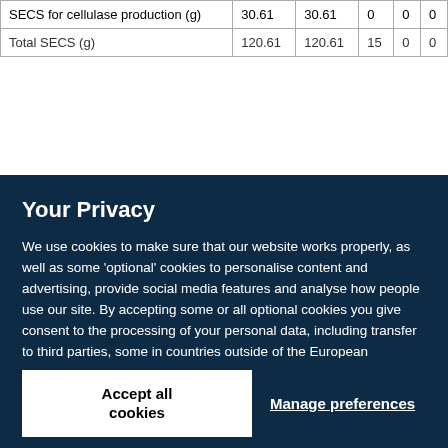|  |  |  |  |  |  |
| --- | --- | --- | --- | --- | --- |
| SECS for cellulase production (g) | 30.61 | 30.61 | 0 | 0 | 0 |
| Total SECS (g) | 120.61 | 120.61 | 15 | 0 | 0 |
Your Privacy
We use cookies to make sure that our website works properly, as well as some 'optional' cookies to personalise content and advertising, provide social media features and analyse how people use our site. By accepting some or all optional cookies you give consent to the processing of your personal data, including transfer to third parties, some in countries outside of the European Economic Area that do not offer the same data protection standards as the country where you live. You can decide which optional cookies to accept by clicking on 'Manage Settings', where you can also find more information about how your personal data is processed. Further information can be found in our privacy policy.